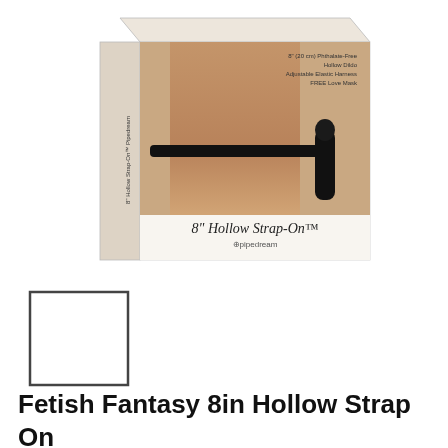[Figure (photo): Product packaging for '8" Hollow Strap-On' by Pipedream. Box shows a person wearing a black strap-on harness with a black hollow dildo. Box text includes '8" (20 cm) Phthalate-Free Hollow Dildo', 'Adjustable Elastic Harness', 'FREE Love Mask'. Side of box reads '8" Hollow Strap-On Pipedream'.]
[Figure (photo): Small white thumbnail/swatch box with black border, showing an alternate product view or color swatch.]
Fetish Fantasy 8in Hollow Strap On Black